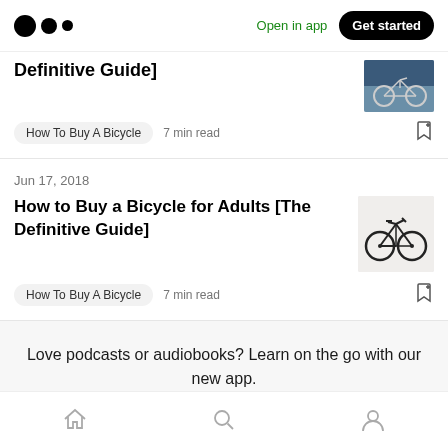Medium logo | Open in app | Get started
Definitive Guide]
How To Buy A Bicycle  7 min read
Jun 17, 2018
How to Buy a Bicycle for Adults [The Definitive Guide]
How To Buy A Bicycle  7 min read
Love podcasts or audiobooks? Learn on the go with our new app.
Try Knowable